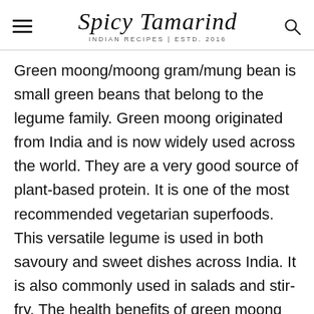Spicy Tamarind — INDIAN RECIPES | ESTD. 2016
Green moong/moong gram/mung bean is small green beans that belong to the legume family. Green moong originated from India and is now widely used across the world. They are a very good source of plant-based protein. It is one of the most recommended vegetarian superfoods. This versatile legume is used in both savoury and sweet dishes across India. It is also commonly used in salads and stir-fry. The health benefits of green moong increase many folds when sprouted